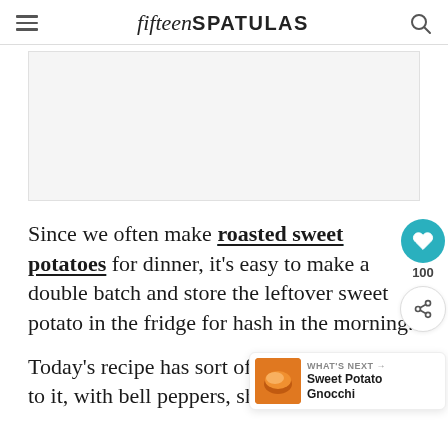fifteen SPATULAS
[Figure (other): Advertisement placeholder — light grey rectangle]
Since we often make roasted sweet potatoes for dinner, it's easy to make a double batch and store the leftover sweet potato in the fridge for hash in the morning.
Today's recipe has sort of a Southwest spirit to it, with bell peppers, shallots, jalapeños, and a big squeeze of...